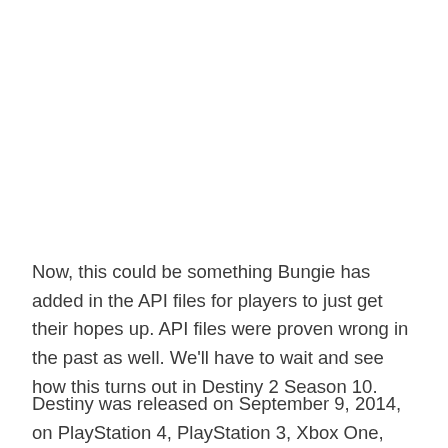Now, this could be something Bungie has added in the API files for players to just get their hopes up. API files were proven wrong in the past as well. We'll have to wait and see how this turns out in Destiny 2 Season 10.
Destiny was released on September 9, 2014, on PlayStation 4, PlayStation 3, Xbox One, and Xbox 360.